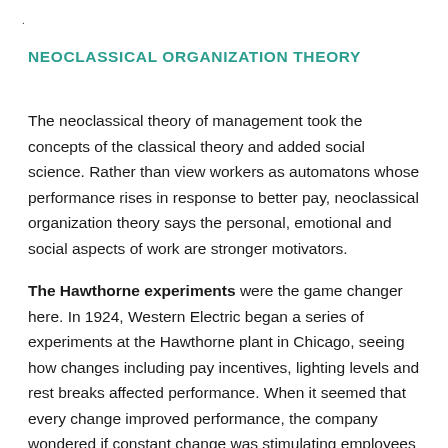NEOCLASSICAL ORGANIZATION THEORY
The neoclassical theory of management took the concepts of the classical theory and added social science. Rather than view workers as automatons whose performance rises in response to better pay, neoclassical organization theory says the personal, emotional and social aspects of work are stronger motivators.
The Hawthorne experiments were the game changer here. In 1924, Western Electric began a series of experiments at the Hawthorne plant in Chicago, seeing how changes including pay incentives, lighting levels and rest breaks affected performance. When it seemed that every change improved performance, the company wondered if constant change was stimulating employees to work harder. Trying to